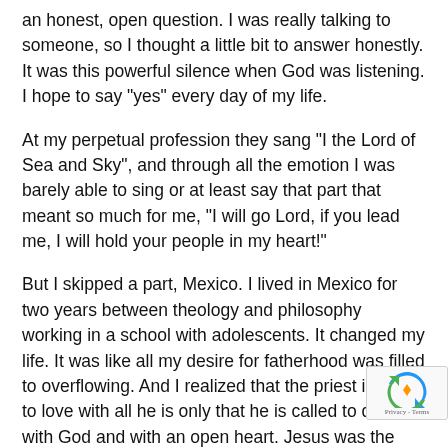an honest, open question. I was really talking to someone, so I thought a little bit to answer honestly. It was this powerful silence when God was listening. I hope to say "yes" every day of my life.
At my perpetual profession they sang "I the Lord of Sea and Sky", and through all the emotion I was barely able to sing or at least say that part that meant so much for me, "I will go Lord, if you lead me, I will hold your people in my heart!"
But I skipped a part, Mexico. I lived in Mexico for two years between theology and philosophy working in a school with adolescents. It changed my life. It was like all my desire for fatherhood was filled to overflowing. And I realized that the priest is called to love with all he is only that he is called to do it with God and with an open heart. Jesus was the face of the Father and the priest is configured to Jesus. I hope and pray to be able to show God the Father to those around me. I remember looking at the kids and thinking "God loves you so much! You have no idea! I know it!" It was just that I felt so full